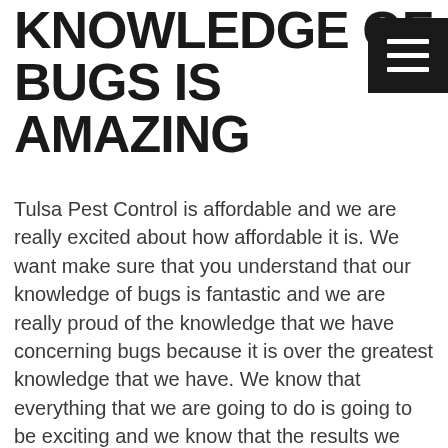KNOWLEDGE OF BUGS IS AMAZING
Tulsa Pest Control is affordable and we are really excited about how affordable it is. We want make sure that you understand that our knowledge of bugs is fantastic and we are really proud of the knowledge that we have concerning bugs because it is over the greatest knowledge that we have. We know that everything that we are going to do is going to be exciting and we know that the results we are going to get are going to be the most amazing things ever. We want you to know that everything that we are going to do is literally going to be the greatest thing ever.